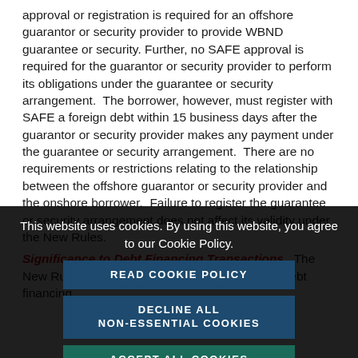approval or registration is required for an offshore guarantor or security provider to provide WBND guarantee or security. Further, no SAFE approval is required for the guarantor or security provider to perform its obligations under the guarantee or security arrangement. The borrower, however, must register with SAFE a foreign debt within 15 business days after the guarantor or security provider makes any payment under the guarantee or security arrangement. There are no requirements or restrictions relating to the relationship between the offshore guarantor or security provider and the onshore borrower. Failure to register the guarantee or security arrangement does not affect its validity under the New Rules.
Significance to Debt Financing Transactions. The New Rules are of great significance to onshore debt financing...
This website uses cookies. By using this website, you agree to our Cookie Policy.
READ COOKIE POLICY
DECLINE ALL NON-ESSENTIAL COOKIES
ACCEPT ALL COOKIES